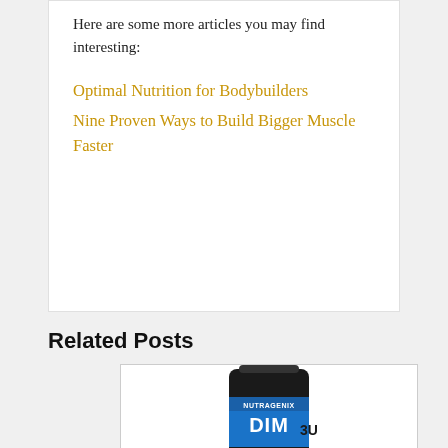Here are some more articles you may find interesting:
Optimal Nutrition for Bodybuilders
Nine Proven Ways to Build Bigger Muscle Faster
Related Posts
[Figure (photo): Supplement bottle labeled NUTRAGENIX DIM 3U, dark bottle with blue and black label]